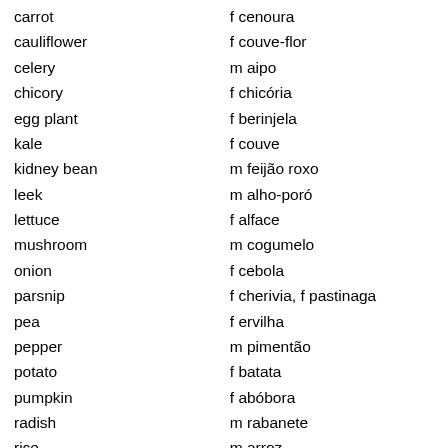| English | Portuguese |
| --- | --- |
| carrot | f cenoura |
| cauliflower | f couve-flor |
| celery | m aipo |
| chicory | f chicória |
| egg plant | f berinjela |
| kale | f couve |
| kidney bean | m feijão roxo |
| leek | m alho-poró |
| lettuce | f alface |
| mushroom | m cogumelo |
| onion | f cebola |
| parsnip | f cherivia, f pastinaga |
| pea | f ervilha |
| pepper | m pimentão |
| potato | f batata |
| pumpkin | f abóbora |
| radish | m rabanete |
| rice | m arroz |
| shallot | f cebolinha |